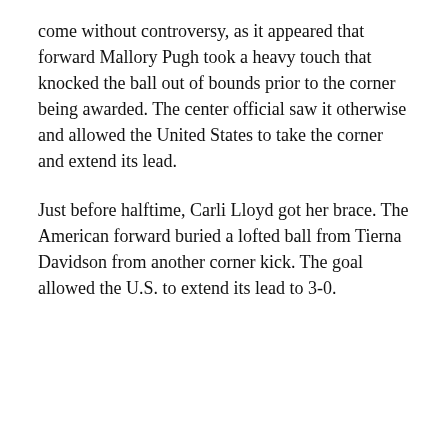come without controversy, as it appeared that forward Mallory Pugh took a heavy touch that knocked the ball out of bounds prior to the corner being awarded. The center official saw it otherwise and allowed the United States to take the corner and extend its lead.
Just before halftime, Carli Lloyd got her brace. The American forward buried a lofted ball from Tierna Davidson from another corner kick. The goal allowed the U.S. to extend its lead to 3-0.